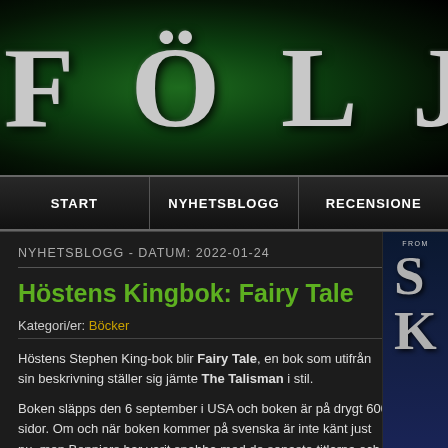FÖL JES
[Figure (screenshot): Navigation bar with links: START, NYHETSBLOGG, RECENSIONE]
NYHETSBLOGG - DATUM: 2022-01-24
Höstens Kingbok: Fairy Tale
Kategori/er: Böcker
Höstens Stephen King-bok blir Fairy Tale, en bok som utifrån sin beskrivning ställer sig jämte The Talisman i stil.
Boken släpps den 6 september i USA och boken är på drygt 600 sidor. Om och när boken kommer på svenska är inte känt just nu, men Bonniers har varit snabba med de senaste titlarna och förhoppningsvis ska även denna komma hyfsat tätt in på det